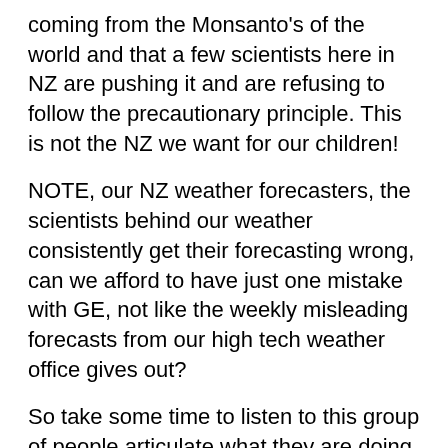coming from the Monsanto's of the world and that a few scientists here in NZ are pushing it and are refusing to follow the precautionary principle. This is not the NZ we want for our children!
NOTE, our NZ weather forecasters, the scientists behind our weather consistently get their forecasting wrong, can we afford to have just one mistake with GE, not like the weekly misleading forecasts from our high tech weather office gives out?
So take some time to listen to this group of people articulate what they are doing to awaken the community to the opportunities and challenges and … that we most definitely can make a difference.
By advising our elected servants in Wellington of your needs it will assist in keeping the integrity of NZ's sovereignty in this fast changing world. For as the people in America are finding out, they are